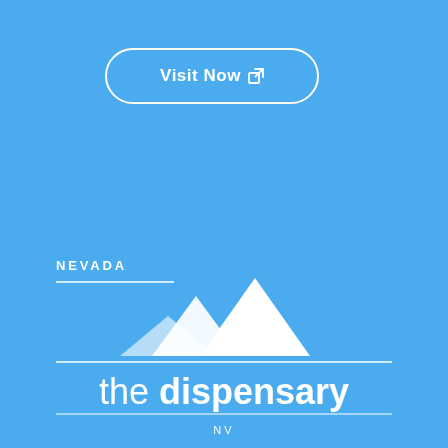Visit Now ↗
NEVADA
[Figure (logo): The Dispensary NV logo: white mountain peaks icon above a horizontal line, with text 'the dispensary' in large mixed-weight font and 'NV' in small caps below a second line]